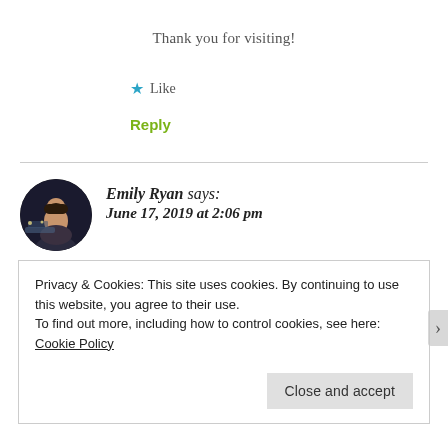Thank you for visiting!
★ Like
Reply
Emily Ryan says: June 17, 2019 at 2:06 pm
Privacy & Cookies: This site uses cookies. By continuing to use this website, you agree to their use.
To find out more, including how to control cookies, see here: Cookie Policy
Close and accept